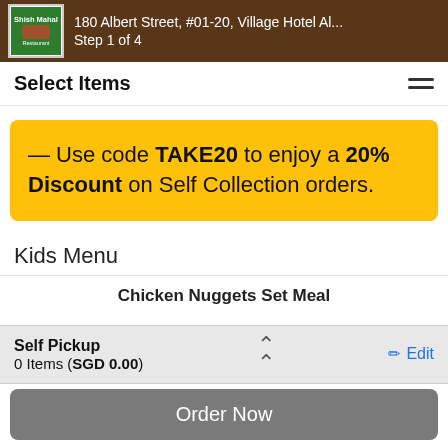180 Albert Street, #01-20, Village Hotel Al... Step 1 of 4
Select Items
— Use code TAKE20 to enjoy a 20% Discount on Self Collection orders.
Kids Menu
Chicken Nuggets Set Meal
Self Pickup
0 Items (SGD 0.00)
Edit
Order Now